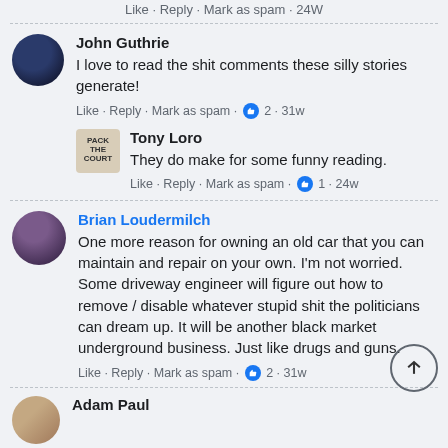Like · Reply · Mark as spam · 24W
John Guthrie
I love to read the shit comments these silly stories generate!
Like · Reply · Mark as spam · 👍 2 · 31w
Tony Loro
They do make for some funny reading.
Like · Reply · Mark as spam · 👍 1 · 24w
Brian Loudermilch
One more reason for owning an old car that you can maintain and repair on your own. I'm not worried. Some driveway engineer will figure out how to remove / disable whatever stupid shit the politicians can dream up. It will be another black market underground business. Just like drugs and guns.
Like · Reply · Mark as spam · 👍 2 · 31w
Adam Paul